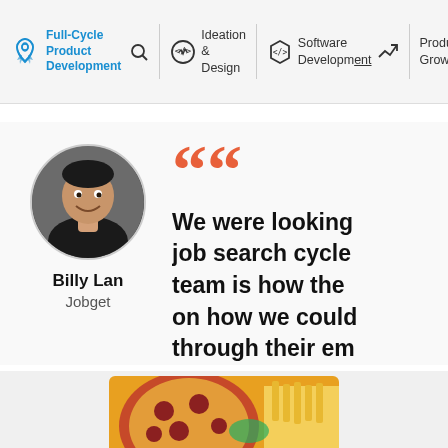[Figure (screenshot): Navigation bar with service categories: Full-Cycle Product Development (active, blue), Ideation & Design, Software Development, Product Growth]
[Figure (photo): Testimonial section with circular headshot photo of Billy Lan, founder of Jobget, next to a partial quote beginning with styled orange quotation marks and bold text reading: We were looking job search cycle team is how the on how we could through their em]
Billy Lan
Jobget
We were looking job search cycle team is how the on how we could through their em
[Figure (photo): Partial bottom image showing pizza and food items]